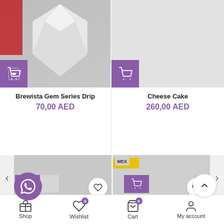[Figure (screenshot): Product image of Brewista Gem Series Drip - white diamond-shaped coffee dripper on grey background]
Brewista Gem Series Drip
70,00 AED
[Figure (screenshot): Product image of Cheese Cake - light grey background]
Cheese Cake
260,00 AED
[Figure (screenshot): Slider row showing two product thumbnails with heart/wishlist buttons and left/right navigation arrows]
[Figure (screenshot): WhatsApp contact button (purple circle) and scroll-to-top button]
[Figure (screenshot): Bottom navigation bar with Shop, Wishlist (badge 0), Cart (badge 0), My account icons]